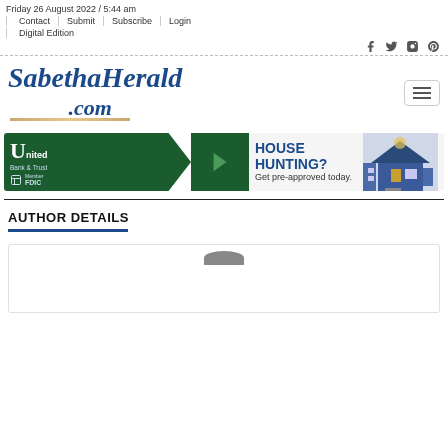Friday 26 August 2022 / 5:44 am
Contact | Submit | Subscribe | Login | Digital Edition
[Figure (logo): SabethaHerald.com logo with social media icons (Facebook, Twitter, Instagram, Pinterest) and hamburger menu button]
[Figure (infographic): United Bank & Trust Member FDIC banner advertisement: HOUSE HUNTING? Get pre-approved today. with house image]
AUTHOR DETAILS
[Figure (photo): Author avatar placeholder showing top of head silhouette]